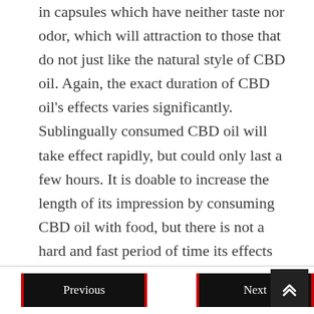in capsules which have neither taste nor odor, which will attraction to those that do not just like the natural style of CBD oil. Again, the exact duration of CBD oil's effects varies significantly. Sublingually consumed CBD oil will take effect rapidly, but could only last a few hours. It is doable to increase the length of its impression by consuming CBD oil with food, but there is not a hard and fast period of time its effects will final.
Previous | Next